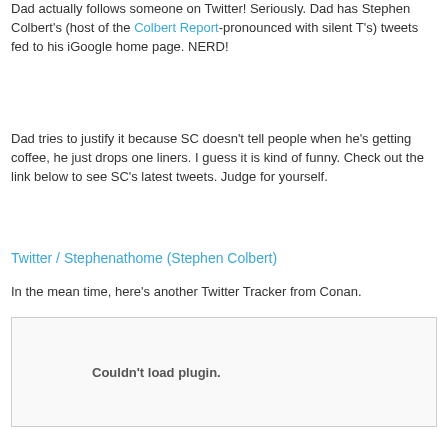Dad actually follows someone on Twitter! Seriously. Dad has Stephen Colbert's (host of the Colbert Report-pronounced with silent T's) tweets fed to his iGoogle home page. NERD!
Dad tries to justify it because SC doesn't tell people when he's getting coffee, he just drops one liners. I guess it is kind of funny. Check out the link below to see SC's latest tweets. Judge for yourself.
Twitter / Stephenathome (Stephen Colbert)
In the mean time, here's another Twitter Tracker from Conan.
[Figure (other): Embedded plugin area showing 'Couldn't load plugin.' message]